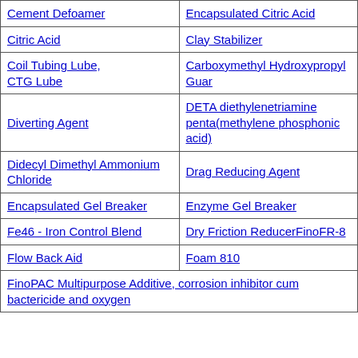| Cement Defoamer | Encapsulated Citric Acid |
| Citric Acid | Clay Stabilizer |
| Coil Tubing Lube, CTG Lube | Carboxymethyl Hydroxypropyl Guar |
| Diverting Agent | DETA diethylenetriamine penta(methylene phosphonic acid) |
| Didecyl Dimethyl Ammonium Chloride | Drag Reducing Agent |
| Encapsulated Gel Breaker | Enzyme Gel Breaker |
| Fe46 - Iron Control Blend | Dry Friction ReducerFinoFR-8 |
| Flow Back Aid | Foam 810 |
| FinoPAC Multipurpose Additive, corrosion inhibitor cum bactericide and oxygen |  |